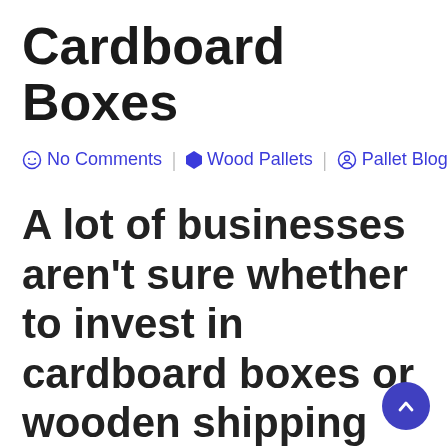Cardboard Boxes
No Comments | Wood Pallets | Pallet Blogs
A lot of businesses aren't sure whether to invest in cardboard boxes or wooden shipping crates, and we're here to let you know why crates are